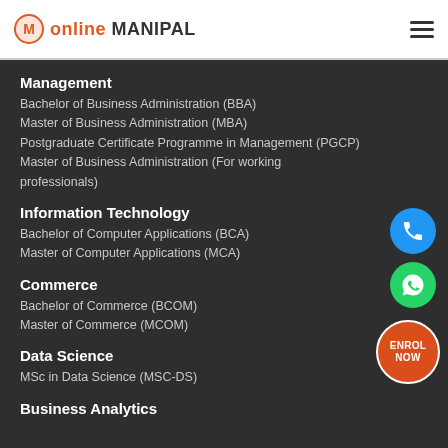online MANIPAL
Management
Bachelor of Business Administration (BBA)
Master of Business Administration (MBA)
Postgraduate Certificate Programme in Management (PGCP)
Master of Business Administration (For working professionals)
Information Technology
Bachelor of Computer Applications (BCA)
Master of Computer Applications (MCA)
Commerce
Bachelor of Commerce (BCOM)
Master of Commerce (MCOM)
Data Science
MSc in Data Science (MSC-DS)
Business Analytics